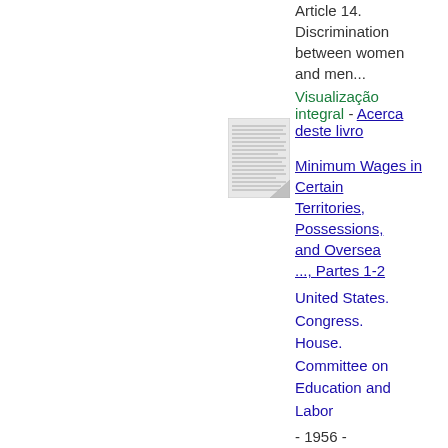Article 14. Discrimination between women and men...
Visualização integral - Acerca deste livro
[Figure (other): Thumbnail image of a book page with dense text]
Minimum Wages in Certain Territories, Possessions, and Oversea ..., Partes 1-2
United States. Congress. House. Committee on Education and Labor - 1956 - 584 páginas
...wilfully violates any of the provisions of this Article shall, upon conviction